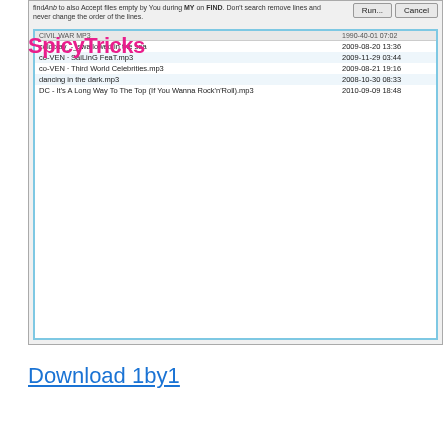[Figure (screenshot): Screenshot of a desktop application (1by1 file search/management tool) showing a file list with mp3 files and their dates. The window has a text instruction at top, Run and Cancel buttons, a checkbox for Change dates, a search icon, and a list of files including CIVIL WAR MP3 folder, coldplay_-_swallowed in the sea, co-VEN - SaiLinG FeaT.mp3, co-VEN - Third World Celebrities.mp3, dancing in the dark.mp3, DC - It's A Long Way To The Top (If You Wanna Rock'n'Roll).mp3. Dates shown from 2009 to 2010. SpicyTricks logo overlaid.]
SpicyTricks
Download 1by1